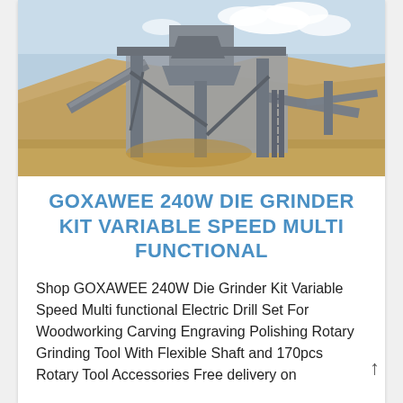[Figure (photo): Industrial aggregate/mining plant with metal framework, conveyors, hoppers, and ladders, set against a sandy hillside and partly cloudy sky.]
GOXAWEE 240W DIE GRINDER KIT VARIABLE SPEED MULTI FUNCTIONAL
Shop GOXAWEE 240W Die Grinder Kit Variable Speed Multi functional Electric Drill Set For Woodworking Carving Engraving Polishing Rotary Grinding Tool With Flexible Shaft and 170pcs Rotary Tool Accessories Free delivery on